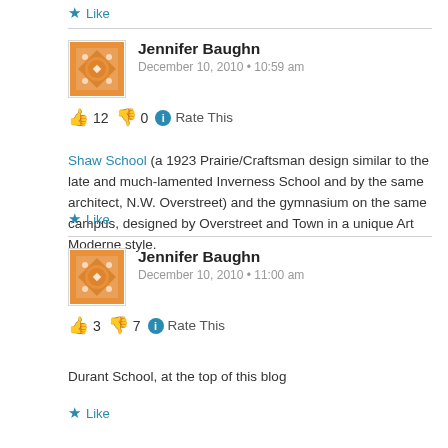★ Like
Jennifer Baughn
December 10, 2010 • 10:59 am
👍 12 👎 0 ℹ Rate This
Shaw School (a 1923 Prairie/Craftsman design similar to the late and much-lamented Inverness School and by the same architect, N.W. Overstreet) and the gymnasium on the same campus, designed by Overstreet and Town in a unique Art Moderne style.
★ Like
Jennifer Baughn
December 10, 2010 • 11:00 am
👍 3 👎 7 ℹ Rate This
Durant School, at the top of this blog
★ Like